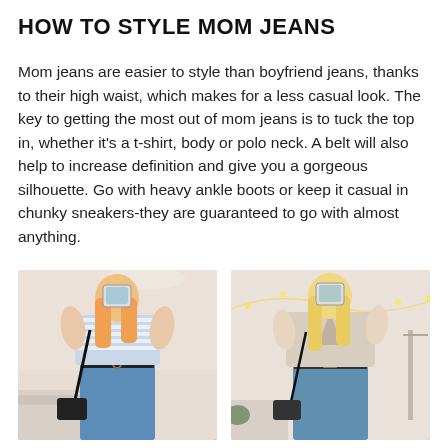HOW TO STYLE MOM JEANS
Mom jeans are easier to style than boyfriend jeans, thanks to their high waist, which makes for a less casual look. The key to getting the most out of mom jeans is to tuck the top in, whether it's a t-shirt, body or polo neck. A belt will also help to increase definition and give you a gorgeous silhouette. Go with heavy ankle boots or keep it casual in chunky sneakers-they are guaranteed to go with almost anything.
[Figure (photo): Two side-by-side mirror selfie photos of a blonde woman wearing mom jeans. Left photo: wearing a blue and white striped t-shirt tucked in, with a black belt and black crossbody bag, blue jeans. Right photo: wearing a beige/cream cardigan tucked into light blue mom jeans with a black belt and black bag.]